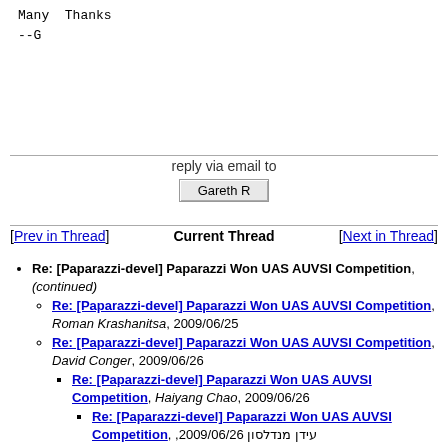Many Thanks
--G
reply via email to
Gareth R
[Prev in Thread]  Current Thread  [Next in Thread]
Re: [Paparazzi-devel] Paparazzi Won UAS AUVSI Competition, (continued)
Re: [Paparazzi-devel] Paparazzi Won UAS AUVSI Competition, Roman Krashanitsa, 2009/06/25
Re: [Paparazzi-devel] Paparazzi Won UAS AUVSI Competition, David Conger, 2009/06/26
Re: [Paparazzi-devel] Paparazzi Won UAS AUVSI Competition, Haiyang Chao, 2009/06/26
Re: [Paparazzi-devel] Paparazzi Won UAS AUVSI Competition, עידן מנדלסון, 2009/06/26